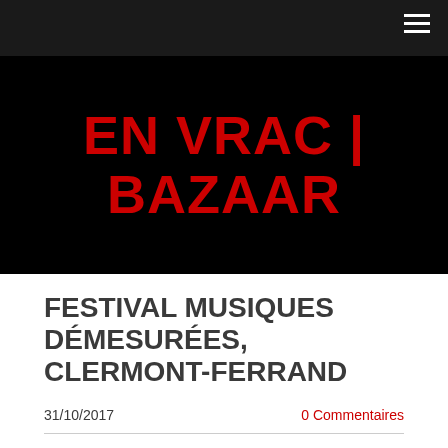≡
EN VRAC | BAZAAR
FESTIVAL MUSIQUES DÉMESURÉES, CLERMONT-FERRAND
31/10/2017    0 Commentaires
On November 3rd, the festival presents a program called "Chemin de traverse" imagined by Vincent